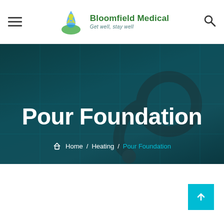[Figure (logo): Bloomfield Medical logo with green leaf/person motif and tagline 'Get well, stay well']
Pour Foundation
Home / Heating / Pour Foundation (breadcrumb navigation)
[Figure (screenshot): Dark teal hero background with stethoscope imagery]